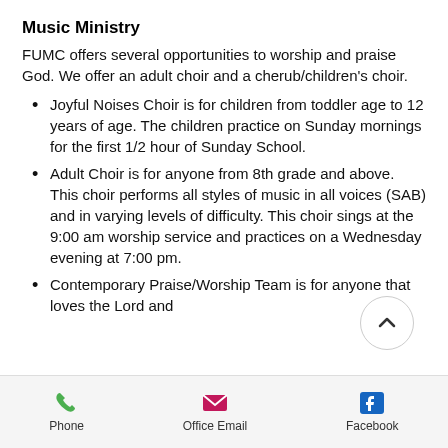Music Ministry
FUMC offers several opportunities to worship and praise God. We offer an adult choir and a cherub/children’s choir.
Joyful Noises Choir is for children from toddler age to 12 years of age. The children practice on Sunday mornings for the first 1/2 hour of Sunday School.
Adult Choir is for anyone from 8th grade and above. This choir performs all styles of music in all voices (SAB) and in varying levels of difficulty. This choir sings at the 9:00 am worship service and practices on a Wednesday evening at 7:00 pm.
Contemporary Praise/Worship Team is for anyone that loves the Lord and
Phone   Office Email   Facebook